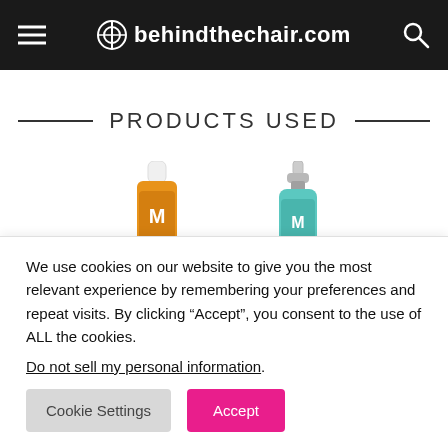behindthechair.com
PRODUCTS USED
[Figure (photo): Two Moroccanoil hair product bottles: a gold oil treatment bottle and a teal/turquoise spray bottle, partially visible]
We use cookies on our website to give you the most relevant experience by remembering your preferences and repeat visits. By clicking “Accept”, you consent to the use of ALL the cookies.
Do not sell my personal information.